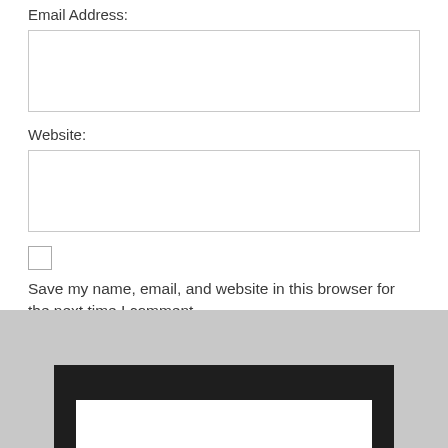Email Address:
[Figure (other): Empty text input field for email address]
Website:
[Figure (other): Empty text input field for website]
[Figure (other): Unchecked checkbox]
Save my name, email, and website in this browser for the next time I comment.
[Figure (other): Add Comment button (teal/dark cyan color)]
[Figure (screenshot): Dark bordered frame with white inner area at bottom of page, partially visible]